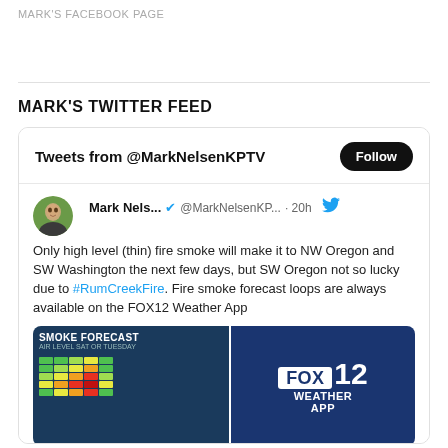MARK'S FACEBOOK PAGE
MARK'S TWITTER FEED
[Figure (screenshot): Embedded Twitter widget showing tweets from @MarkNelsenKPTV. Contains a tweet about fire smoke reaching NW Oregon and SW Washington, with a blue Follow button, a profile photo of Mark Nelsen, a verified badge, tweet text mentioning #RumCreekFire, and two attached images: a smoke forecast chart and a FOX 12 Weather App logo.]